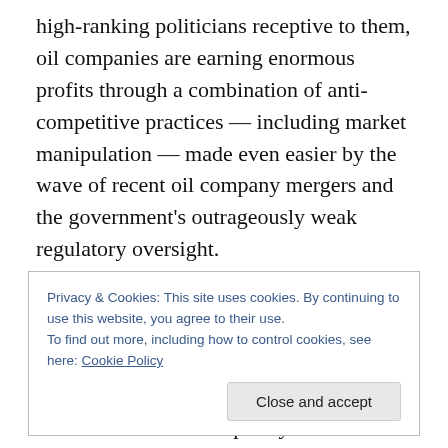high-ranking politicians receptive to them, oil companies are earning enormous profits through a combination of anti-competitive practices — including market manipulation — made even easier by the wave of recent oil company mergers and the government's outrageously weak regulatory oversight.
“Every time you buy gas, you know you are being price-gouged, but did you know that, for every gallon of gas you buy, you are being charged an extra 70 cents — at least — that is related purely to market speculation and not a
Privacy & Cookies: This site uses cookies. By continuing to use this website, you agree to their use.
To find out more, including how to control cookies, see here: Cookie Policy